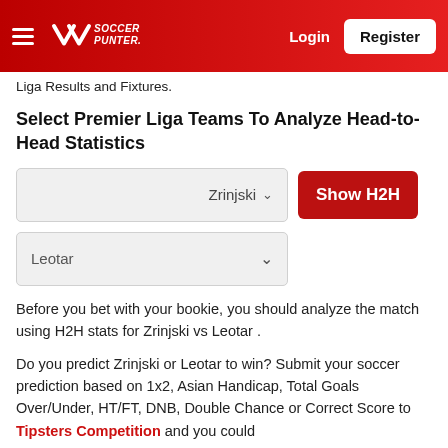Soccer Punter — Login | Register
Liga Results and Fixtures.
Select Premier Liga Teams To Analyze Head-to-Head Statistics
Zrinjski ∨  [Show H2H button]
Leotar ∨
Before you bet with your bookie, you should analyze the match using H2H stats for Zrinjski vs Leotar .
Do you predict Zrinjski or Leotar to win? Submit your soccer prediction based on 1x2, Asian Handicap, Total Goals Over/Under, HT/FT, DNB, Double Chance or Correct Score to Tipsters Competition and you could